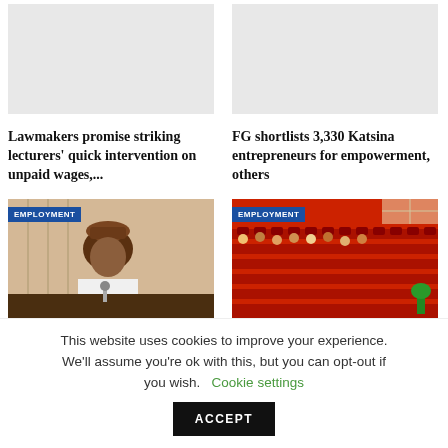[Figure (photo): Gray placeholder image (top left article image)]
[Figure (photo): Gray placeholder image (top right article image)]
Lawmakers promise striking lecturers' quick intervention on unpaid wages,...
FG shortlists 3,330 Katsina entrepreneurs for empowerment, others
[Figure (photo): Photo of a man in traditional Nigerian cap at a desk with a microphone, labeled EMPLOYMENT]
[Figure (photo): Photo of people seated in a red auditorium/chamber, labeled EMPLOYMENT]
This website uses cookies to improve your experience. We'll assume you're ok with this, but you can opt-out if you wish. Cookie settings ACCEPT